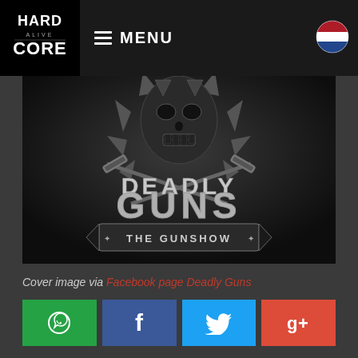HARD CORE — MENU
[Figure (illustration): Deadly Guns – The Gunshow album/event artwork: dark metallic skull figure with spiked halo and crossed guns, large text 'DEADLY GUNS' and subtitle 'THE GUNSHOW']
Cover image via Facebook page Deadly Guns
Social share buttons: WhatsApp, Facebook, Twitter, Google+